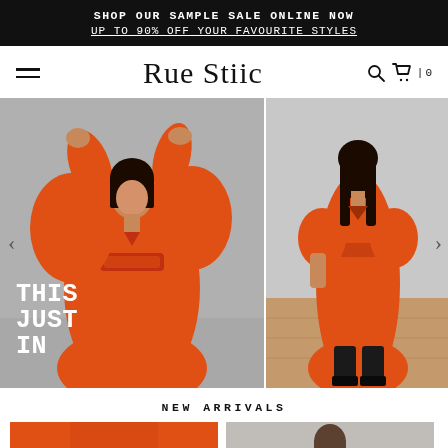SHOP OUR SAMPLE SALE ONLINE NOW
UP TO 90% OFF YOUR FAVOURITE STYLES
Rue Stiic
[Figure (photo): Woman in orange belted dress with puffed sleeves, arms raised, on grey background. Text overlay: THIS JUST IN]
[Figure (photo): Woman in orange midi dress with short sleeves, wearing black boots, standing on wooden floor against grey wall]
NEW ARRIVALS
[Figure (photo): Partial product thumbnail - orange clothing item]
[Figure (photo): Partial product thumbnail - model in dark clothing]